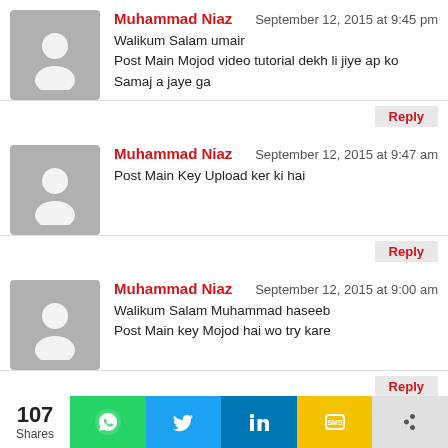Muhammad Niaz — September 12, 2015 at 9:45 pm
Walikum Salam umair
Post Main Mojod video tutorial dekh li jiye ap ko Samaj a jaye ga
Muhammad Niaz — September 12, 2015 at 9:47 am
Post Main Key Upload ker ki hai
Muhammad Niaz — September 12, 2015 at 9:00 am
Walikum Salam Muhammad haseeb
Post Main key Mojod hai wo try kare
Muhammad Niaz — September 12, 2015 at 8:54 am
Walikum Salam Ibrar Chaudry
IDM Remove ker ke System Restart kare and
107 Shares